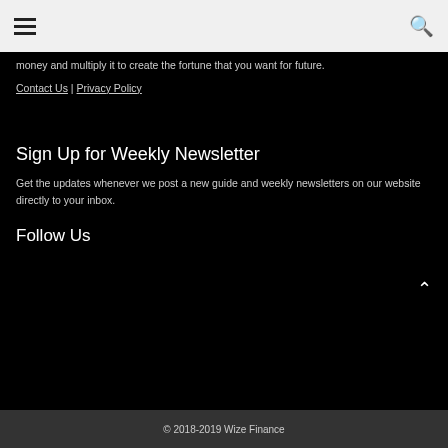☰  🔍
money and multiply it to create the fortune that you want for future.
Contact Us | Privacy Policy
Sign Up for Weekly Newsletter
Get the updates whenever we post a new guide and weekly newsletters on our website directly to your inbox.
Follow Us
© 2018-2019 Wize Finance